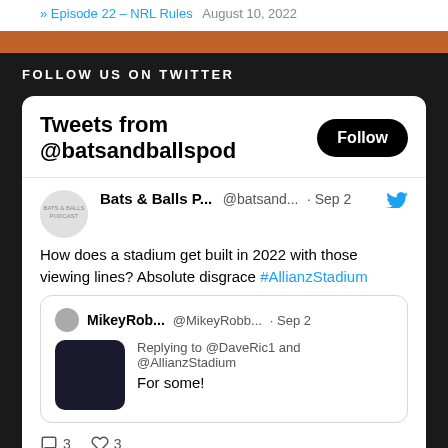Episode 22 – NRL Rules   August 10, 2022
FOLLOW US ON TWITTER
[Figure (screenshot): Embedded Twitter widget showing tweets from @batsandballspod with a tweet from Bats & Balls P... @batsand... Sep 2: 'How does a stadium get built in 2022 with those viewing lines? Absolute disgrace #AllianzStadium', with a quoted tweet from MikeyRob... @MikeyRobb... Sep 2 replying to @DaveRic1 and @AllianzStadium saying 'For some!', and action bar showing 3 comments and 3 likes.]